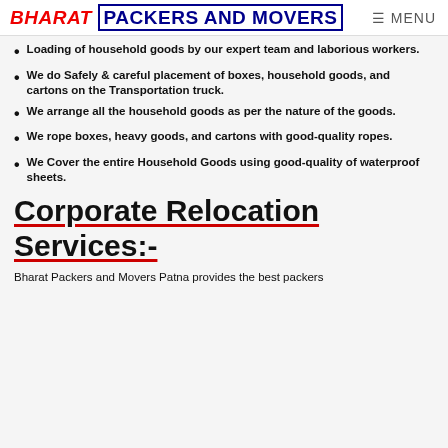BHARAT PACKERS AND MOVERS  ☰ MENU
Loading of household goods by our expert team and laborious workers.
We do Safely & careful placement of boxes, household goods, and cartons on the Transportation truck.
We arrange all the household goods as per the nature of the goods.
We rope boxes, heavy goods, and cartons with good-quality ropes.
We Cover the entire Household Goods using good-quality of waterproof sheets.
Corporate Relocation Services:-
Bharat Packers and Movers Patna provides the best packers